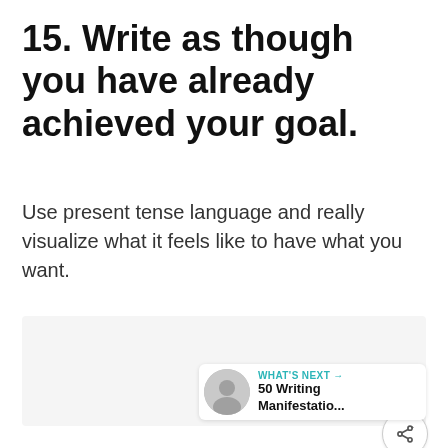15. Write as though you have already achieved your goal.
Use present tense language and really visualize what it feels like to have what you want.
[Figure (other): Light gray placeholder box for an image or content area]
[Figure (infographic): Heart/like button (teal circle with heart icon), like count of 4, and share button (circle with share icon)]
WHAT'S NEXT → 50 Writing Manifestatio...